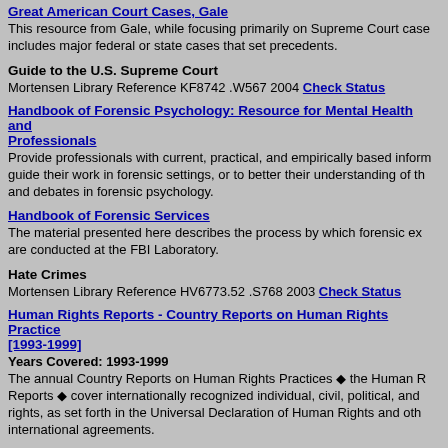Great American Court Cases, Gale
This resource from Gale, while focusing primarily on Supreme Court cases, includes major federal or state cases that set precedents.
Guide to the U.S. Supreme Court
Mortensen Library Reference KF8742 .W567 2004 Check Status
Handbook of Forensic Psychology: Resource for Mental Health and Professionals
Provide professionals with current, practical, and empirically based information to guide their work in forensic settings, or to better their understanding of the issues and debates in forensic psychology.
Handbook of Forensic Services
The material presented here describes the process by which forensic examinations are conducted at the FBI Laboratory.
Hate Crimes
Mortensen Library Reference HV6773.52 .S768 2003 Check Status
Human Rights Reports - Country Reports on Human Rights Practices [1993-1999]
Years Covered: 1993-1999
The annual Country Reports on Human Rights Practices the Human Rights Reports cover internationally recognized individual, civil, political, and rights, as set forth in the Universal Declaration of Human Rights and other international agreements.
Leading United States Supreme Court State Tax Cases: Official Syllabi, Notes, and Indices